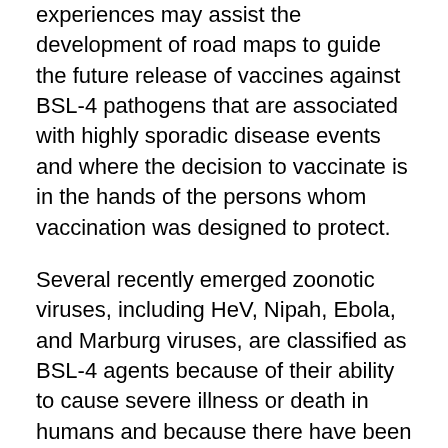experiences may assist the development of road maps to guide the future release of vaccines against BSL-4 pathogens that are associated with highly sporadic disease events and where the decision to vaccinate is in the hands of the persons whom vaccination was designed to protect.
Several recently emerged zoonotic viruses, including HeV, Nipah, Ebola, and Marburg viruses, are classified as BSL-4 agents because of their ability to cause severe illness or death in humans and because there have been no effective vaccines or postexposure treatments to protect against the diseases they cause. The vaccine against HeV (Equivac HeV) is a commercially deployed vaccine developed against a BSL-4 agent and is the only licensed treatment for henipavirus infection.
Development of vaccines against BSL-4 agents for